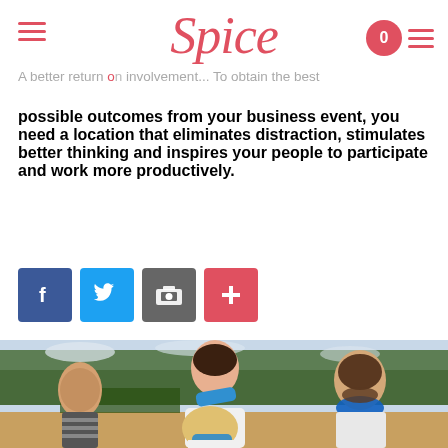Spice
A better return on involvement... To obtain the best possible outcomes from your business event, you need a location that eliminates distraction, stimulates better thinking and inspires your people to participate and work more productively.
[Figure (other): Social sharing buttons: Facebook (blue), Twitter (light blue), Print (grey), Plus/share (red/orange)]
[Figure (photo): Group of people outdoors, laughing and playing a team game in a vineyard/rural setting. A woman in white is lifted or spinning, wearing a blue scarf, with others around her also wearing blue scarves and casual clothing.]